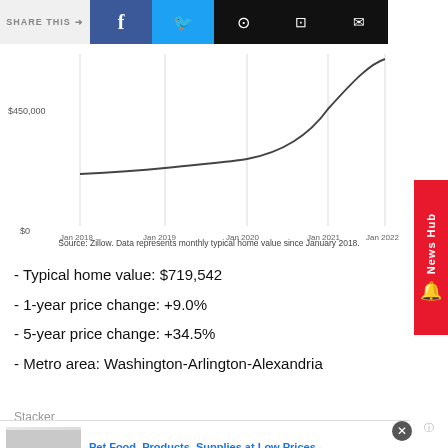[Figure (line-chart): Line chart showing typical home value from Jan 2018 to Jan 2022, with y-axis label $450,000]
Source: Zillow. Data represents monthly typical home value since January 2018.
- Typical home value: $719,542
- 1-year price change: +9.0%
- 5-year price change: +34.5%
- Metro area: Washington-Arlington-Alexandria
Stacker